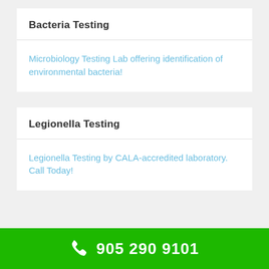Bacteria Testing
Microbiology Testing Lab offering identification of environmental bacteria!
Legionella Testing
Legionella Testing by CALA-accredited laboratory. Call Today!
905 290 9101